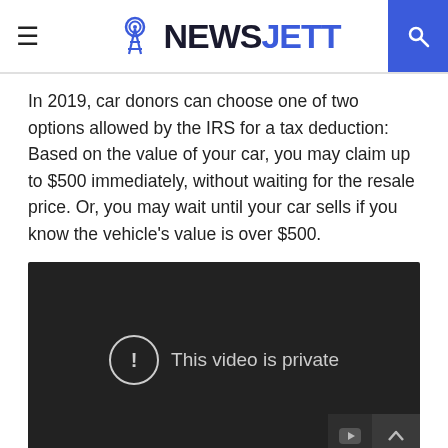NEWSJETT
In 2019, car donors can choose one of two options allowed by the IRS for a tax deduction: Based on the value of your car, you may claim up to $500 immediately, without waiting for the resale price. Or, you may wait until your car sells if you know the vehicle's value is over $500.
[Figure (screenshot): Embedded video player showing 'This video is private' message on a dark background]
Is it worth donating a car for